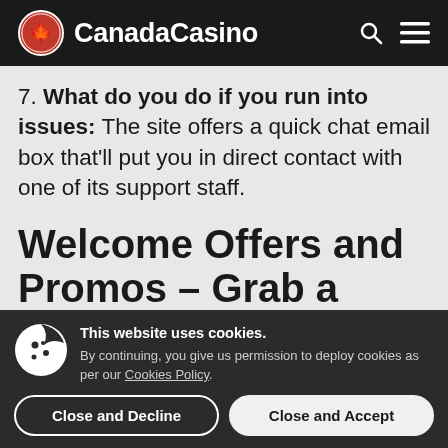CanadaCasino
7. What do you do if you run into issues: The site offers a quick chat email box that'll put you in direct contact with one of its support staff.
Welcome Offers and Promos – Grab a Bonus
This website uses cookies. By continuing, you give us permission to deploy cookies as per our Cookies Policy.
Close and Decline | Close and Accept